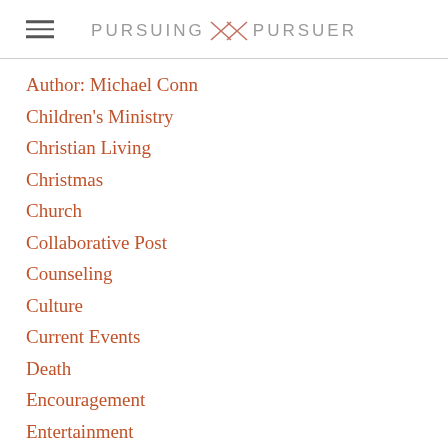PURSUING × PURSUER
Author: Michael Conn
Children's Ministry
Christian Living
Christmas
Church
Collaborative Post
Counseling
Culture
Current Events
Death
Encouragement
Entertainment
Eschatology
Evangelism
Family
Guest Posts
Homosexuality